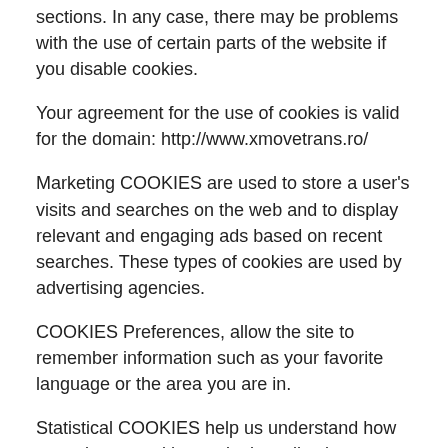sections. In any case, there may be problems with the use of certain parts of the website if you disable cookies.
Your agreement for the use of cookies is valid for the domain: http://www.xmovetrans.ro/
Marketing COOKIES are used to store a user's visits and searches on the web and to display relevant and engaging ads based on recent searches. These types of cookies are used by advertising agencies.
COOKIES Preferences, allow the site to remember information such as your favorite language or the area you are in.
Statistical COOKIES help us understand how users interact with our site by collecting information anonymously.
Our website may include social media features, such as links to Facebook, Twitter, Instagram, Linkedin or Youtube. These